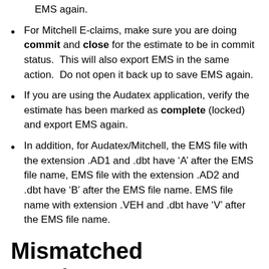EMS again.
For Mitchell E-claims, make sure you are doing commit and close for the estimate to be in commit status.  This will also export EMS in the same action.  Do not open it back up to save EMS again.
If you are using the Audatex application, verify the estimate has been marked as complete (locked) and export EMS again.
In addition, for Audatex/Mitchell, the EMS file with the extension .AD1 and .dbt have ‘A’ after the EMS file name, EMS file with the extension .AD2 and .dbt have ‘B’ after the EMS file name. EMS file name with extension .VEH and .dbt have ‘V’ after the EMS file name.
Mismatched EMS/PDFs
Check to see that EMS/PDF versions of